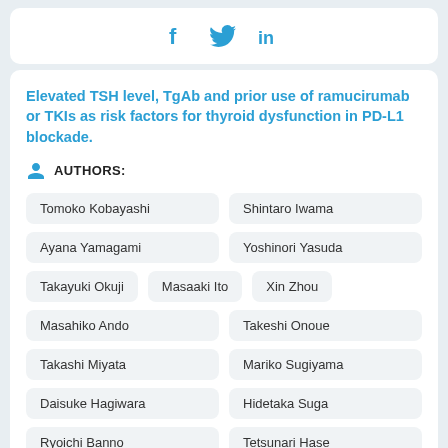[Figure (other): Social media sharing icons: Facebook (f), Twitter (bird), LinkedIn (in)]
Elevated TSH level, TgAb and prior use of ramucirumab or TKIs as risk factors for thyroid dysfunction in PD-L1 blockade.
AUTHORS:
Tomoko Kobayashi
Shintaro Iwama
Ayana Yamagami
Yoshinori Yasuda
Takayuki Okuji
Masaaki Ito
Xin Zhou
Masahiko Ando
Takeshi Onoue
Takashi Miyata
Mariko Sugiyama
Daisuke Hagiwara
Hidetaka Suga
Ryoichi Banno
Tetsunari Hase